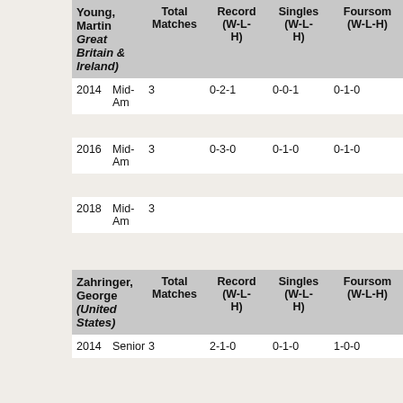| Young, Martin (Great Britain & Ireland) |  | Total Matches | Record (W-L-H) | Singles (W-L-H) | Foursome (W-L-H) |
| --- | --- | --- | --- | --- | --- |
| 2014 | Mid-Am | 3 | 0-2-1 | 0-0-1 | 0-1-0 |
| 2016 | Mid-Am | 3 | 0-3-0 | 0-1-0 | 0-1-0 |
| 2018 | Mid-Am | 3 |  |  |  |
| Zahringer, George (United States) |  | Total Matches | Record (W-L-H) | Singles (W-L-H) | Foursome (W-L-H) |
| --- | --- | --- | --- | --- | --- |
| 2014 | Senior | 3 | 2-1-0 | 0-1-0 | 1-0-0 |